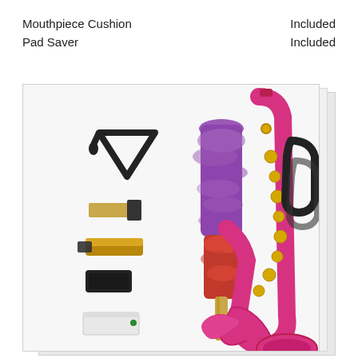| Item | Status |
| --- | --- |
| Mouthpiece Cushion | Included |
| Pad Saver | Included |
[Figure (photo): Flatlay photo of a pink/magenta saxophone with accessories including a strap, pad saver brush (purple and red), reed, mouthpiece, ligature, and case clips, all laid out on a white background with stacked paper effect.]